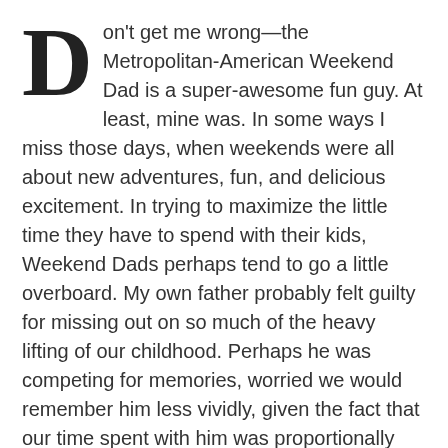Don't get me wrong—the Metropolitan-American Weekend Dad is a super-awesome fun guy. At least, mine was. In some ways I miss those days, when weekends were all about new adventures, fun, and delicious excitement. In trying to maximize the little time they have to spend with their kids, Weekend Dads perhaps tend to go a little overboard. My own father probably felt guilty for missing out on so much of the heavy lifting of our childhood. Perhaps he was competing for memories, worried we would remember him less vividly, given the fact that our time spent with him was proportionally scant.
If he could cram enough museum trips and ice cream and games of catch into the weekend, all that fatherliness just might propel us through the father-less week. If everything we tasted with him was new